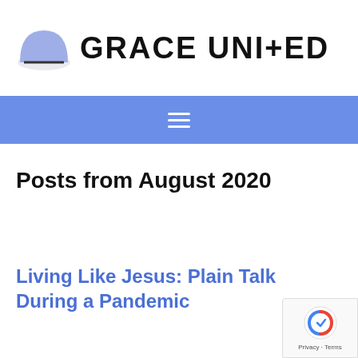[Figure (logo): Grace United church logo with blue semi-circle dome icon and bold text GRACE UNI+ED]
[Figure (infographic): Blue navigation bar with white hamburger menu icon (three horizontal lines)]
Posts from August 2020
Living Like Jesus: Plain Talk During a Pandemic
[Figure (other): Google reCAPTCHA badge with Privacy and Terms text]